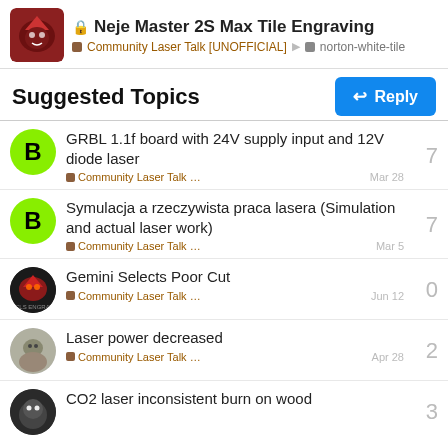Neje Master 2S Max Tile Engraving — Community Laser Talk [UNOFFICIAL] > norton-white-tile
Suggested Topics
GRBL 1.1f board with 24V supply input and 12V diode laser — Community Laser Talk … — Mar 28 — 7 replies
Symulacja a rzeczywista praca lasera (Simulation and actual laser work) — Community Laser Talk … — Mar 5 — 7 replies
Gemini Selects Poor Cut — Community Laser Talk … — Jun 12 — 0 replies
Laser power decreased — Community Laser Talk … — Apr 28 — 2 replies
CO2 laser inconsistent burn on wood — 3 replies